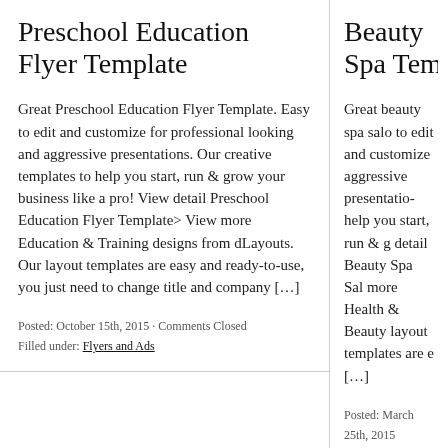Preschool Education Flyer Template
Great Preschool Education Flyer Template. Easy to edit and customize for professional looking and aggressive presentations. Our creative templates to help you start, run & grow your business like a pro! View detail Preschool Education Flyer Template> View more Education & Training designs from dLayouts. Our layout templates are easy and ready-to-use, you just need to change title and company […]
Posted: October 15th, 2015 · Comments Closed
Filled under: Flyers and Ads
Beauty Spa Template
Great beauty spa salon... to edit and customize aggressive presentations... help you start, run & g... detail Beauty Spa Sale... more Health & Beauty... layout templates are e... [...]
Posted: March 25th, 2015
Filled under: Flyers and Ads